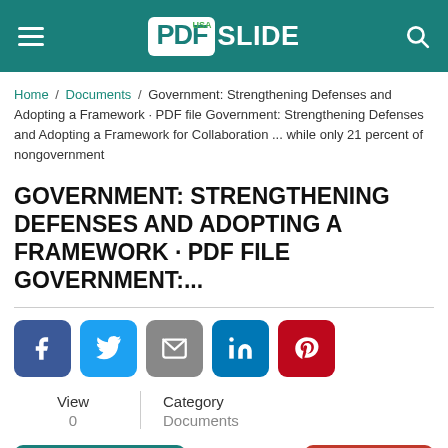PDFslide USA
Home / Documents / Government: Strengthening Defenses and Adopting a Framework · PDF file Government: Strengthening Defenses and Adopting a Framework for Collaboration ... while only 21 percent of nongovernment
GOVERNMENT: STRENGTHENING DEFENSES AND ADOPTING A FRAMEWORK · PDF FILE GOVERNMENT:...
[Figure (other): Social sharing buttons: Facebook, Twitter, Email, LinkedIn, Pinterest]
| View | Category |
| --- | --- |
| 0 | Documents |
Download   Report